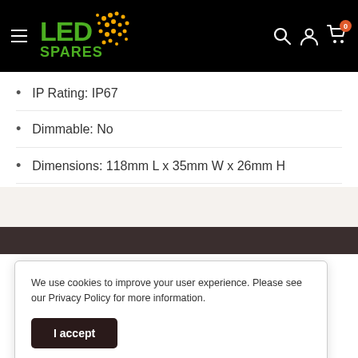LED Spares - navigation header with logo, search, account, cart
IP Rating: IP67
Dimmable: No
Dimensions: 118mm L x 35mm W x 26mm H
We use cookies to improve your user experience. Please see our Privacy Policy for more information.
I accept